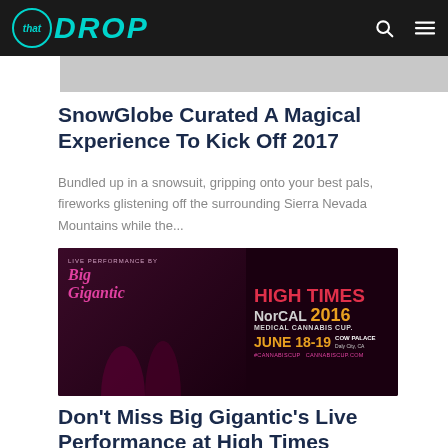that DROP
[Figure (screenshot): Partial screenshot of an article image at top of page, gray placeholder]
SnowGlobe Curated A Magical Experience To Kick Off 2017
Bundled up in a snowsuit, gripping onto your best pals, fireworks glistening off the surrounding Sierra Nevada Mountains while the...
[Figure (photo): High Times NorCal 2016 Medical Cannabis Cup advertisement featuring Big Gigantic live performance, June 18-19, Cow Palace, Daly City, CA]
Don't Miss Big Gigantic's Live Performance at High Times NorCal...